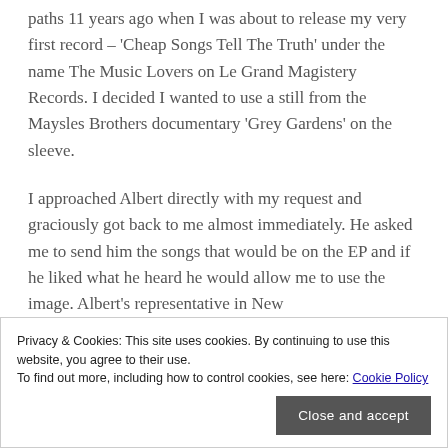paths 11 years ago when I was about to release my very first record – 'Cheap Songs Tell The Truth' under the name The Music Lovers on Le Grand Magistery Records. I decided I wanted to use a still from the Maysles Brothers documentary 'Grey Gardens' on the sleeve.
I approached Albert directly with my request and graciously got back to me almost immediately. He asked me to send him the songs that would be on the EP and if he liked what he heard he would allow me to use the image. Albert's representative in New…
Privacy & Cookies: This site uses cookies. By continuing to use this website, you agree to their use.
To find out more, including how to control cookies, see here: Cookie Policy
Close and accept